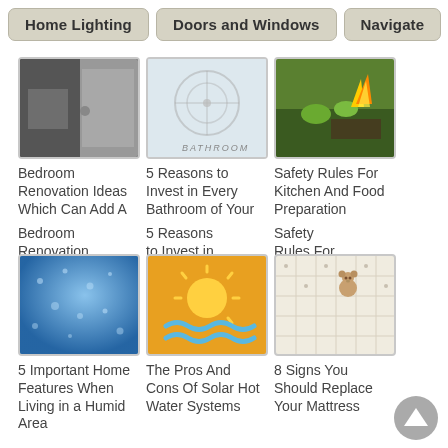Home Lighting | Doors and Windows | Navigate
[Figure (photo): Bedroom door with handle, dark tones, renovation context]
Bedroom Renovation Ideas Which Can Add A
[Figure (photo): Frosted glass bathroom sign]
5 Reasons to Invest in Every Bathroom of Your
[Figure (photo): Kitchen fire with food and plants]
Safety Rules For Kitchen And Food Preparation
[Figure (photo): Blue water droplets on glass, humid area]
5 Important Home Features When Living in a Humid Area
[Figure (illustration): Sun over waves illustration on orange background, solar hot water]
The Pros And Cons Of Solar Hot Water Systems
[Figure (photo): Mattress with teddy bears, white quilted surface]
8 Signs You Should Replace Your Mattress